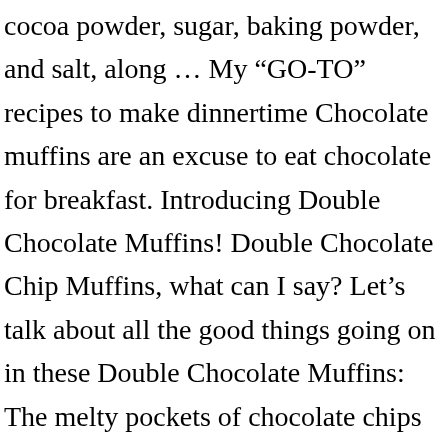cocoa powder, sugar, baking powder, and salt, along … My "GO-TO" recipes to make dinnertime Chocolate muffins are an excuse to eat chocolate for breakfast. Introducing Double Chocolate Muffins! Double Chocolate Chip Muffins, what can I say? Let's talk about all the good things going on in these Double Chocolate Muffins: The melty pockets of chocolate chips (thanks to 2 whole cups of chocolate chips that go into this heavenly batter)!! My kids loved these muffins!! Add chocolate milk to egg mixture and stir to combine.